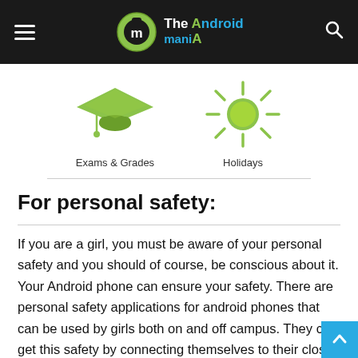The AndroidMania
[Figure (illustration): Two icons: a graduation cap labeled 'Exams & Grades' and a sun icon labeled 'Holidays']
For personal safety:
If you are a girl, you must be aware of your personal safety and you should of course, be conscious about it. Your Android phone can ensure your safety. There are personal safety applications for android phones that can be used by girls both on and off campus. They can get this safety by connecting themselves to their close friends. Also, the GP tracking feature on your phone, will help your friends know